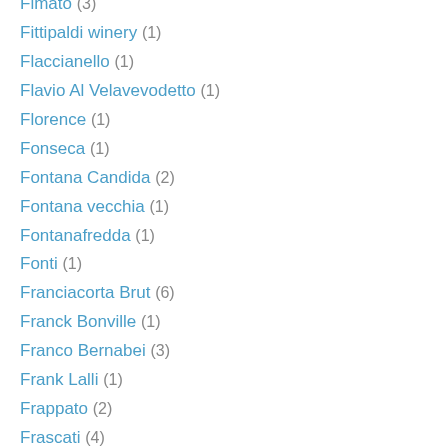Fimato (3)
Fittipaldi winery (1)
Flaccianello (1)
Flavio Al Velavevodetto (1)
Florence (1)
Fonseca (1)
Fontana Candida (2)
Fontana vecchia (1)
Fontanafredda (1)
Fonti (1)
Franciacorta Brut (6)
Franck Bonville (1)
Franco Bernabei (3)
Frank Lalli (1)
Frappato (2)
Frascati (4)
Freisa (1)
French Red (26)
French Sparkling Wine (2)
French White Wine (15)